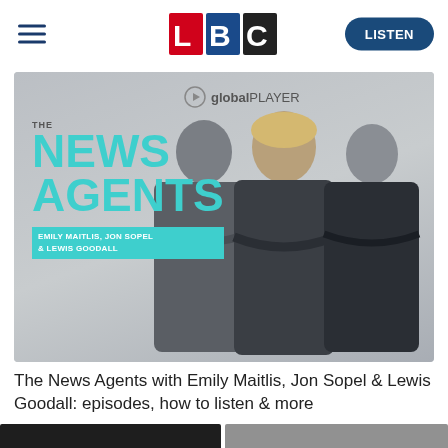[Figure (logo): LBC logo with red L, blue B, black C tiles]
LISTEN
[Figure (photo): The News Agents podcast promotional image showing Emily Maitlis, Jon Sopel & Lewis Goodall posing with arms crossed, with Global Player logo and 'THE NEWS AGENTS EMILY MAITLIS, JON SOPEL & LEWIS GOODALL' text overlay on grey background]
The News Agents with Emily Maitlis, Jon Sopel & Lewis Goodall: episodes, how to listen & more
[Figure (photo): Partial bottom-left image, dark toned]
[Figure (photo): Partial bottom-right image, grey toned]